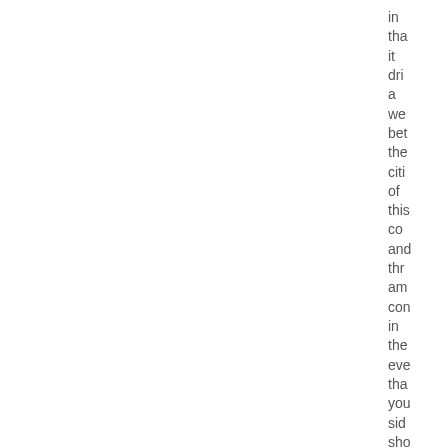in tha it dri a we bet the citi of this co and thr am con in the eve tha you sid sho fail